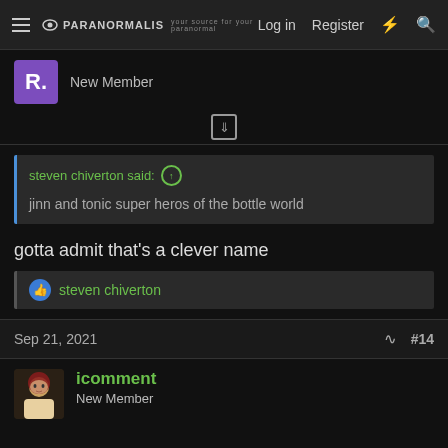PARANORMALIS | Log in | Register
New Member
steven chiverton said: ↑
jinn and tonic super heros of the bottle world
gotta admit that's a clever name
steven chiverton
Sep 21, 2021  #14
icomment
New Member